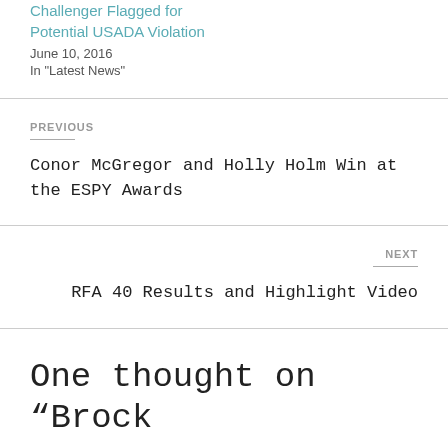Challenger Flagged for Potential USADA Violation
June 10, 2016
In "Latest News"
PREVIOUS
Conor McGregor and Holly Holm Win at the ESPY Awards
NEXT
RFA 40 Results and Highlight Video
One thought on “Brock